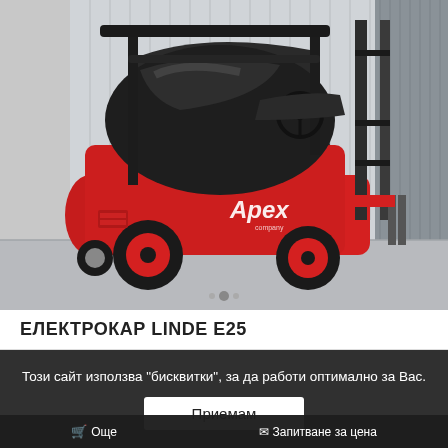[Figure (photo): A red and black Linde E25 electric forklift (Apex brand) photographed outdoors on a concrete surface next to a metal building. The forklift faces left, showing the rear and side profile with visible forks, steering wheel, and black hood.]
ЕЛЕКТРОКАР LINDE E25
Този сайт използва "бисквитки", за да работи оптимално за Вас.
Приемам
Още   Запитване за цена